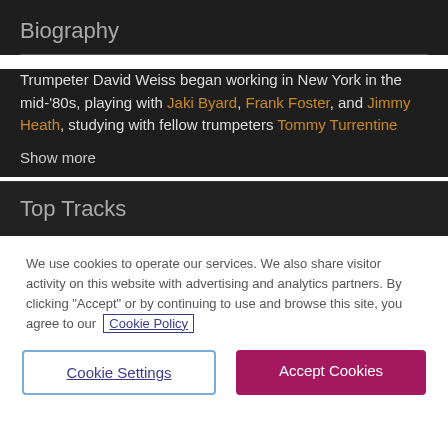Biography
Trumpeter David Weiss began working in New York in the mid-'80s, playing with Jaki Byard, Frank Foster, and Jimmy Heath, studying with fellow trumpeters Tommy Turrentine
Show more
Top Tracks
We use cookies to operate our services. We also share visitor activity on this website with advertising and analytics partners. By clicking "Accept" or by continuing to use and browse this site, you agree to our Cookie Policy
Cookie Settings
Accept Cookies